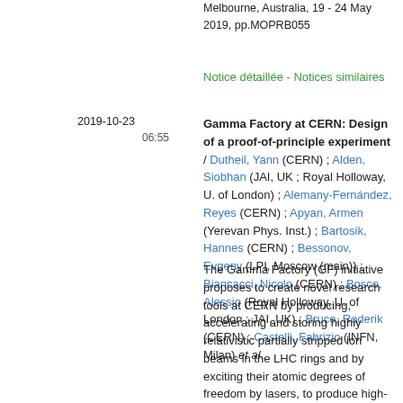Melbourne, Australia, 19 - 24 May 2019, pp.MOPRB055
Notice détaillée - Notices similaires
2019-10-23
06:55
Gamma Factory at CERN: Design of a proof-of-principle experiment / Dutheil, Yann (CERN) ; Alden, Siobhan (JAI, UK ; Royal Holloway, U. of London) ; Alemany-Fernández, Reyes (CERN) ; Apyan, Armen (Yerevan Phys. Inst.) ; Bartosik, Hannes (CERN) ; Bessonov, Evgeny (LPI, Moscow (main)) ; Biancacci, Nicolo (CERN) ; Bosco, Alessio (Royal Holloway, U. of London ; JAI, UK) ; Bruce, Roderik (CERN) ; Castelli, Fabrizio (INFN, Milan) et al.
The Gamma Factory (GF) initiative proposes to create novel research tools at CERN by producing, accelerating and storing highly relativistic partially stripped ion beams in the LHC rings and by exciting their atomic degrees of freedom by lasers, to produce high-energy photon beams. Their intensity would be several orders of magnitude higher than those of the